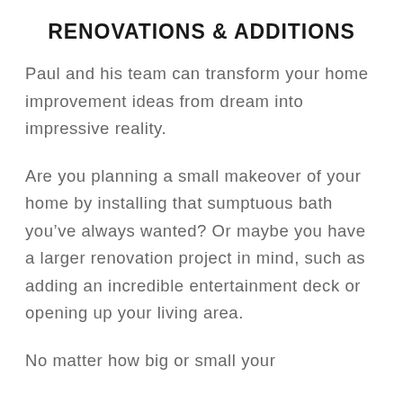RENOVATIONS & ADDITIONS
Paul and his team can transform your home improvement ideas from dream into impressive reality.
Are you planning a small makeover of your home by installing that sumptuous bath you've always wanted? Or maybe you have a larger renovation project in mind, such as adding an incredible entertainment deck or opening up your living area.
No matter how big or small your